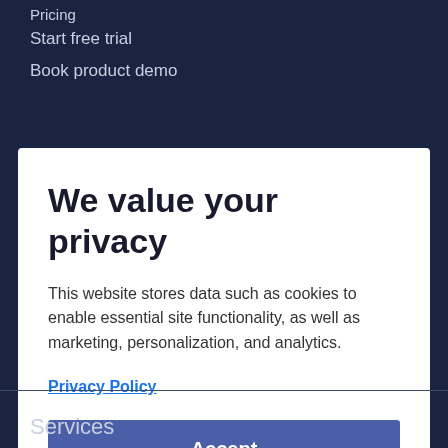Pricing
Start free trial
Book product demo
We value your privacy
This website stores data such as cookies to enable essential site functionality, as well as marketing, personalization, and analytics.
Privacy Policy
Accept
Deny
Services